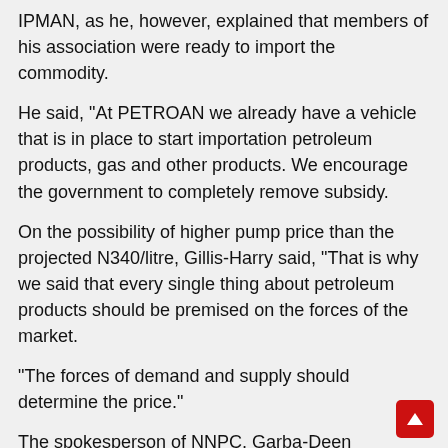IPMAN, as he, however, explained that members of his association were ready to import the commodity.
He said, "At PETROAN we already have a vehicle that is in place to start importation petroleum products, gas and other products. We encourage the government to completely remove subsidy.
On the possibility of higher pump price than the projected N340/litre, Gillis-Harry said, "That is why we said that every single thing about petroleum products should be premised on the forces of the market.
"The forces of demand and supply should determine the price."
The spokesperson of NNPC, Garba-Deen Muhammad, told newsmen that the issue of petrol pricing was not the function of the oil firm.
"Price issues are policy matters. NNPC does not fix price, it has no mandate. It operates in the sector as a business concern governed by CAMA Laws," he stated.